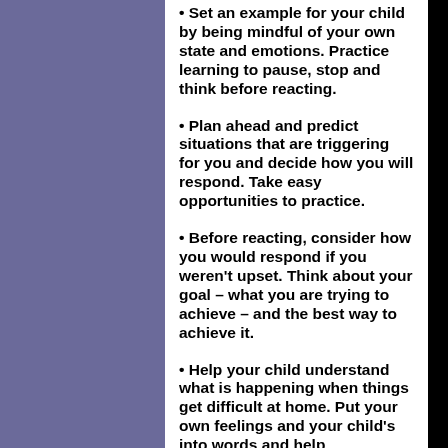• Set an example for your child by being mindful of your own state and emotions. Practice learning to pause, stop and think before reacting.
• Plan ahead and predict situations that are triggering for you and decide how you will respond. Take easy opportunities to practice.
• Before reacting, consider how you would respond if you weren't upset. Think about your goal – what you are trying to achieve – and the best way to achieve it.
• Help your child understand what is happening when things get difficult at home. Put your own feelings and your child's into words and help